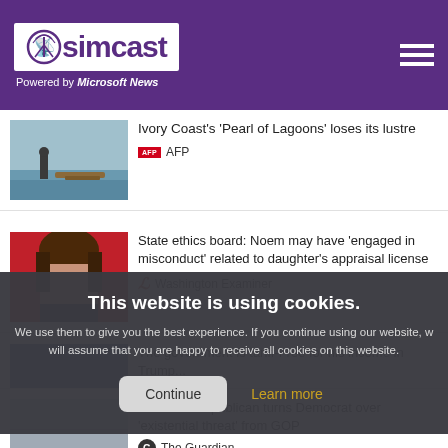simcast — Powered by Microsoft News
[Figure (screenshot): News thumbnail for Ivory Coast story — coastal landscape with person]
Ivory Coast's 'Pearl of Lagoons' loses its lustre
AFP
[Figure (photo): News thumbnail — woman with brown hair against red background]
State ethics board: Noem may have 'engaged in misconduct' related to daughter's appraisal license
Washington Examiner
This website is using cookies. We use them to give you the best experience. If you continue using our website, we will assume that you are happy to receive all cookies on this website.
Continue
Learn more
Colorado Republican turns Democrat over 'existential threat' from GOP
The Guardian